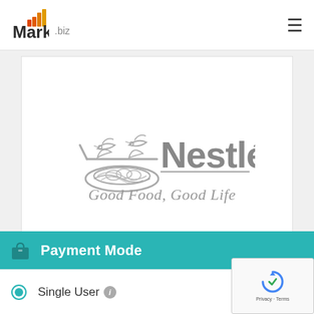Market.biz
[Figure (logo): Nestlé logo with bird-and-nest illustration and tagline 'Good Food, Good Life' in grey]
Payment Mode
Single User  US $3...